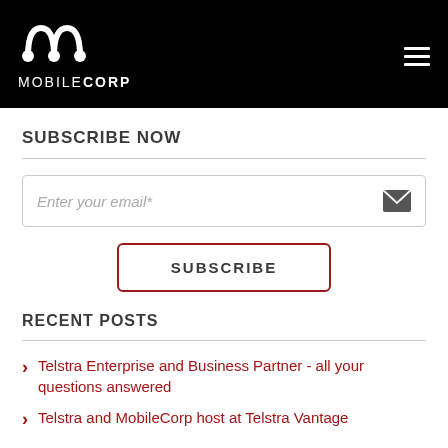[Figure (logo): MobileCorp logo with stylized M symbol and text MOBILECORP on black background header, with hamburger menu icon on right]
SUBSCRIBE NOW
Enter your email*
SUBSCRIBE
RECENT POSTS
Telstra Enterprise and Business Partner - all your questions answered
Telstra and MobileCorp host at Telstra Vantage